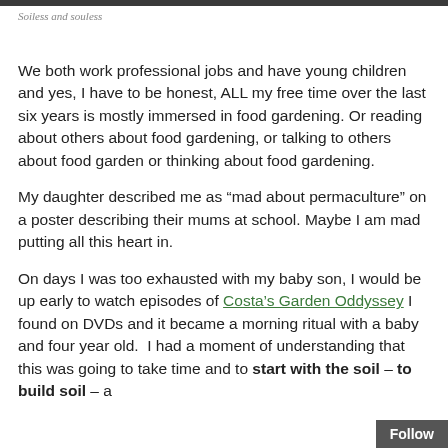Soiless and souless
We both work professional jobs and have young children and yes, I have to be honest, ALL my free time over the last six years is mostly immersed in food gardening. Or reading about others about food gardening, or talking to others about food garden or thinking about food gardening.
My daughter described me as “mad about permaculture” on a poster describing their mums at school. Maybe I am mad putting all this heart in.
On days I was too exhausted with my baby son, I would be up early to watch episodes of Costa’s Garden Oddyssey I found on DVDs and it became a morning ritual with a baby and four year old.  I had a moment of understanding that this was going to take time and to start with the soil – to build soil – a